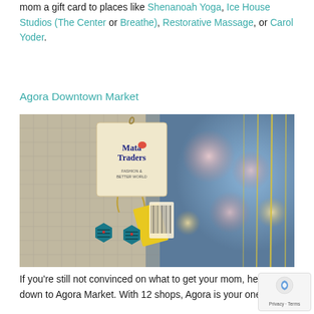mom a gift card to places like Shenanoah Yoga, Ice House Studios (The Center or Breathe), Restorative Massage, or Carol Yoder.
Agora Downtown Market
[Figure (photo): Close-up photo of teal geometric earrings hanging on a Mata Traders display card on a mesh grid, with blurred colorful background lights.]
If you're still not convinced on what to get your mom, head down to Agora Market. With 12 shops, Agora is your one-stop-